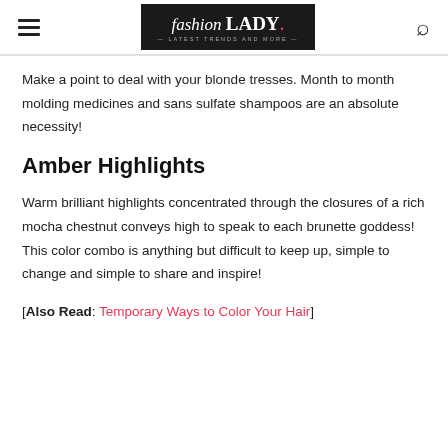fashion LADY — Latest Trends and More —
Make a point to deal with your blonde tresses. Month to month molding medicines and sans sulfate shampoos are an absolute necessity!
Amber Highlights
Warm brilliant highlights concentrated through the closures of a rich mocha chestnut conveys high to speak to each brunette goddess! This color combo is anything but difficult to keep up, simple to change and simple to share and inspire!
[Also Read: Temporary Ways to Color Your Hair]